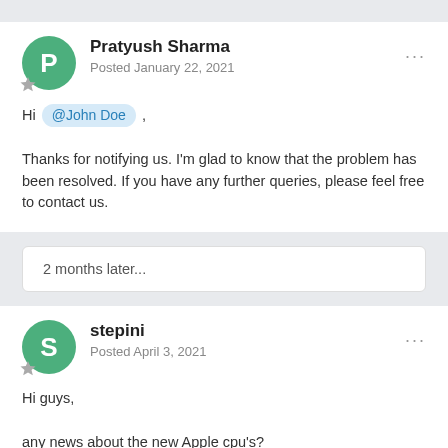Pratyush Sharma
Posted January 22, 2021
Hi @John Doe ,

Thanks for notifying us. I'm glad to know that the problem has been resolved. If you have any further queries, please feel free to contact us.
2 months later...
stepini
Posted April 3, 2021
Hi guys,

any news about the new Apple cpu's?